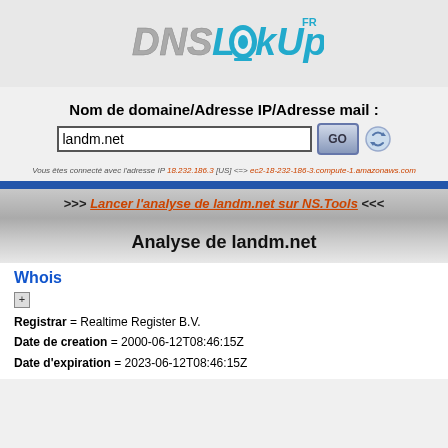[Figure (logo): DNSLookUp.FR logo with stylized text]
Nom de domaine/Adresse IP/Adresse mail :
Vous êtes connecté avec l'adresse IP 18.232.186.3 [US] <=> ec2-18-232-186-3.compute-1.amazonaws.com
>>> Lancer l'analyse de landm.net sur NS.Tools <<<
Analyse de landm.net
Whois
Registrar = Realtime Register B.V.
Date de creation = 2000-06-12T08:46:15Z
Date d'expiration = 2023-06-12T08:46:15Z